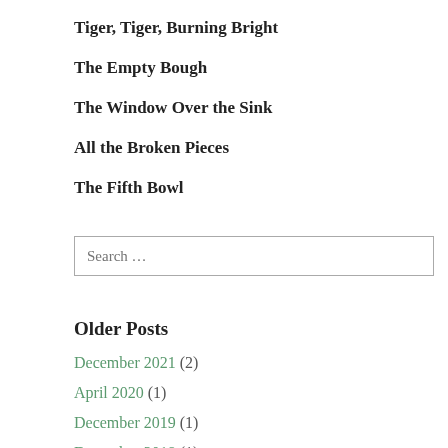Tiger, Tiger, Burning Bright
The Empty Bough
The Window Over the Sink
All the Broken Pieces
The Fifth Bowl
Search …
Older Posts
December 2021 (2)
April 2020 (1)
December 2019 (1)
December 2018 (1)
October 2018 (1)
August 2018 (2)